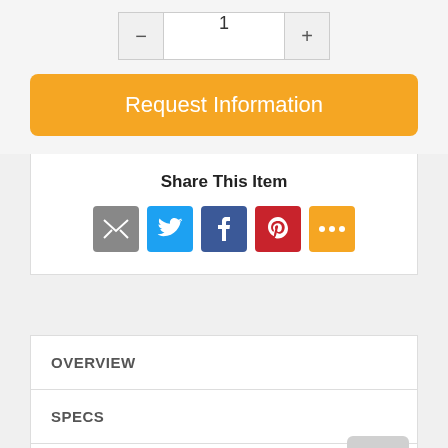[Figure (screenshot): Quantity selector with minus button, input showing '1', and plus button]
Request Information
Share This Item
[Figure (infographic): Social share icons: email (grey), Twitter (blue), Facebook (dark blue), Pinterest (red), more (orange)]
OVERVIEW
SPECS
DOCUMENTS